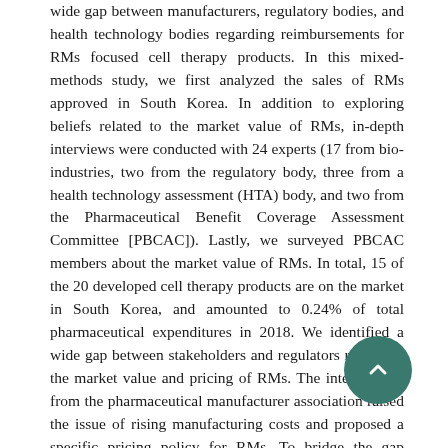wide gap between manufacturers, regulatory bodies, and health technology bodies regarding reimbursements for RMs focused cell therapy products. In this mixed-methods study, we first analyzed the sales of RMs approved in South Korea. In addition to exploring beliefs related to the market value of RMs, in-depth interviews were conducted with 24 experts (17 from bio-industries, two from the regulatory body, three from a health technology assessment (HTA) body, and two from the Pharmaceutical Benefit Coverage Assessment Committee [PBCAC]). Lastly, we surveyed PBCAC members about the market value of RMs. In total, 15 of the 20 developed cell therapy products are on the market in South Korea, and amounted to 0.24% of total pharmaceutical expenditures in 2018. We identified a wide gap between stakeholders and regulators regarding the market value and pricing of RMs. The interviewees from the pharmaceutical manufacturer association raised the issue of rising manufacturing costs and proposed a specific pricing policy for RMs. To bridge the gap between approval and reimbursement, stakeholders demand an alternative framework of value-based pricing. Conditional health insurance reimbursement may be an alternative to the traditional process in order to generate evidence of the effects of RMs using “risk-based” or “outcome-based” approaches.